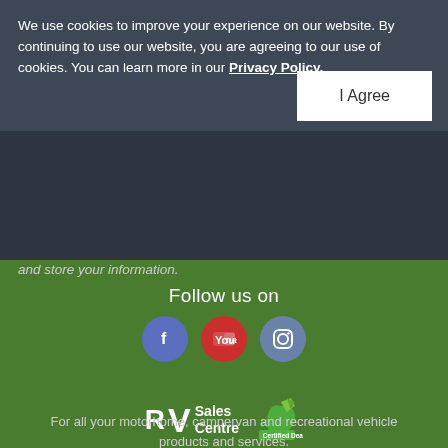We use cookies to improve your experience on our website. By continuing to use our website, you are agreeing to our use of cookies. You can learn more in our Privacy Policy.
I Agree
and store your information.
Follow us on
[Figure (logo): RV Sales Centre logo with KEA Certified Dealer badge]
For all your motorhome, campervan and recreational vehicle products and services.